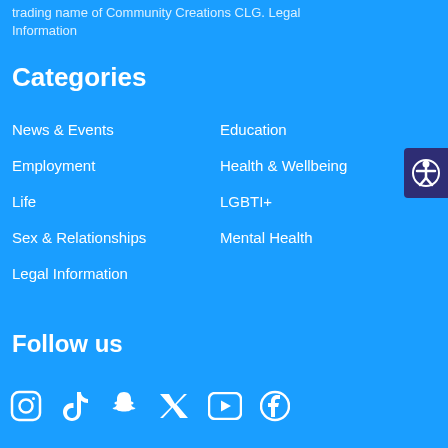trading name of Community Creations CLG. Legal Information
Categories
News & Events
Employment
Life
Sex & Relationships
Legal Information
Education
Health & Wellbeing
LGBTI+
Mental Health
Follow us
[Figure (infographic): Social media icons row: Instagram, TikTok, Snapchat, Twitter/X, YouTube, Facebook]